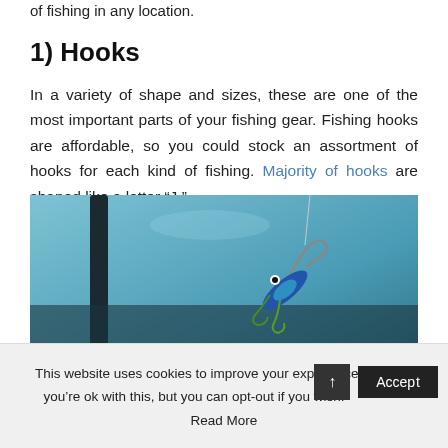of fishing in any location.
1) Hooks
In a variety of shape and sizes, these are one of the most important parts of your fishing gear. Fishing hooks are affordable, so you could stock an assortment of hooks for each kind of fishing. Majority of hooks are shaped like a letter “J.”
[Figure (photo): Close-up photo of a fishing lure (blue and green) hanging on a hook with fishing line, against a blurred blue-teal background with a dark rod visible.]
This website uses cookies to improve your experience. We’ll as you’re ok with this, but you can opt-out if you wish. Accept Read More